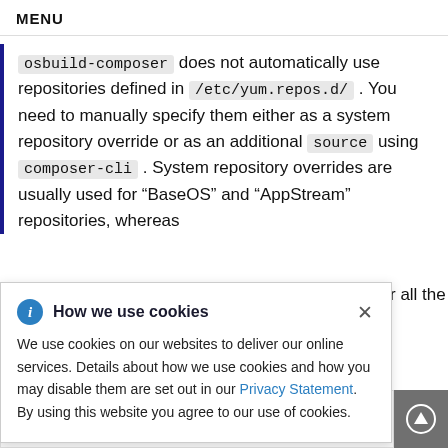MENU
osbuild-composer does not automatically use repositories defined in /etc/yum.repos.d/ . You need to manually specify them either as a system repository override or as an additional source using composer-cli . System repository overrides are usually used for “BaseOS” and “AppStream” repositories, whereas
r all the
[Figure (infographic): Cookie consent dialog box with info icon, title 'How we use cookies', close button (x), and body text about cookie usage with a Privacy Statement link.]
We use cookies on our websites to deliver our online services. Details about how we use cookies and how you may disable them are set out in our Privacy Statement. By using this website you agree to our use of cookies.